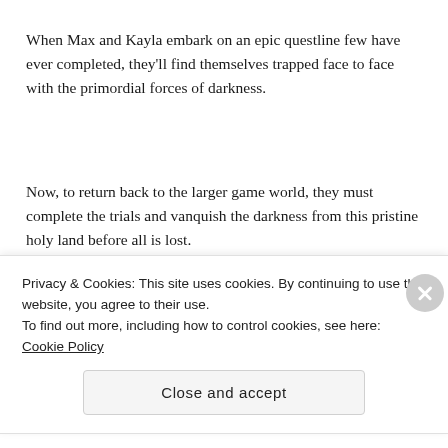When Max and Kayla embark on an epic questline few have ever completed, they'll find themselves trapped face to face with the primordial forces of darkness.
Now, to return back to the larger game world, they must complete the trials and vanquish the darkness from this pristine holy land before all is lost.
There's just one catch, if they don't complete it within the time limit,
Privacy & Cookies: This site uses cookies. By continuing to use this website, you agree to their use.
To find out more, including how to control cookies, see here: Cookie Policy
Close and accept